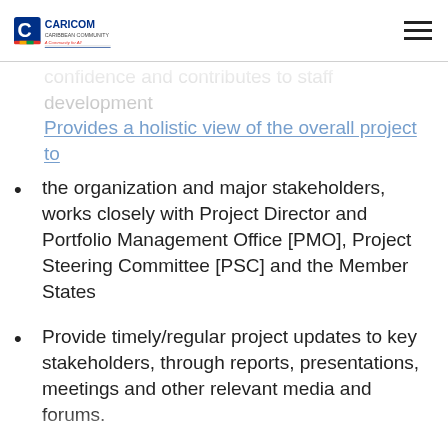CARICOM Caribbean Community — A Community for All
confidence and contributes to staff development (partial, faded top)
Provides a holistic view of the overall project to (partial, faded blue)
the organization and major stakeholders, works closely with Project Director and Portfolio Management Office [PMO], Project Steering Committee [PSC] and the Member States
Provide timely/regular project updates to key stakeholders, through reports, presentations, meetings and other relevant media and forums.
Network with the Regional Coordinating Mechanism (RCM), Subrecipients SRs, partners and implementing partners on a regular basis to obtain and share pertinent data/information
Manages project documentation and tools including Lessons Learned, Risk Register, Activity Listing, Stakeholder Register, Issues Log, etc.
Monitor and promote best practices in the care (partial, cut off at bottom)